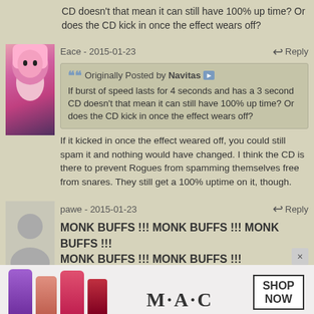CD doesn't that mean it can still have 100% up time? Or does the CD kick in once the effect wears off?
Eace - 2015-01-23
Originally Posted by Navitas
If burst of speed lasts for 4 seconds and has a 3 second CD doesn't that mean it can still have 100% up time? Or does the CD kick in once the effect wears off?
If it kicked in once the effect weared off, you could still spam it and nothing would have changed. I think the CD is there to prevent Rogues from spamming themselves free from snares. They still get a 100% uptime on it, though.
pawe - 2015-01-23
MONK BUFFS !!! MONK BUFFS !!! MONK BUFFS !!! MONK BUFFS !!! MONK BUFFS !!!
Now read that with Eddie Murphy's voice on Delirious(
[Figure (photo): Advertisement banner showing MAC cosmetics lipsticks with SHOP NOW text]